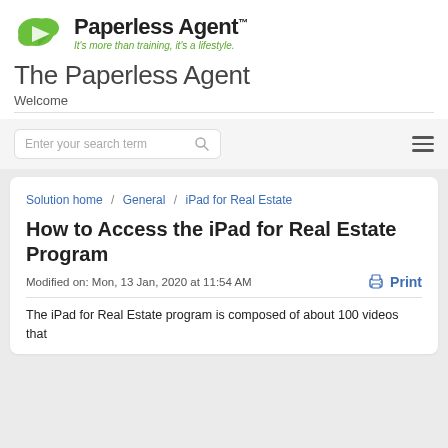[Figure (logo): Paperless Agent logo with green cloud icon and tagline 'It's more than training, it's a lifestyle.']
The Paperless Agent
Welcome
[Figure (screenshot): Search bar with placeholder 'Enter your search term' and hamburger menu icon]
Solution home / General / iPad for Real Estate
How to Access the iPad for Real Estate Program
Modified on: Mon, 13 Jan, 2020 at 11:54 AM
The iPad for Real Estate program is composed of about 100 videos that